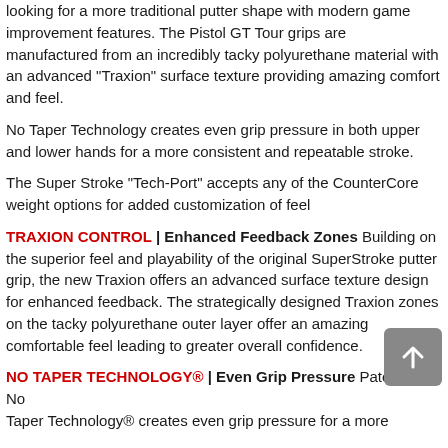looking for a more traditional putter shape with modern game improvement features. The Pistol GT Tour grips are manufactured from an incredibly tacky polyurethane material with an advanced "Traxion" surface texture providing amazing comfort and feel.
No Taper Technology creates even grip pressure in both upper and lower hands for a more consistent and repeatable stroke.
The Super Stroke "Tech-Port" accepts any of the CounterCore weight options for added customization of feel
TRAXION CONTROL | Enhanced Feedback Zones Building on the superior feel and playability of the original SuperStroke putter grip, the new Traxion offers an advanced surface texture design for enhanced feedback. The strategically designed Traxion zones on the tacky polyurethane outer layer offer an amazing comfortable feel leading to greater overall confidence.
NO TAPER TECHNOLOGY® | Even Grip Pressure Patented No Taper Technology® creates even grip pressure for a more